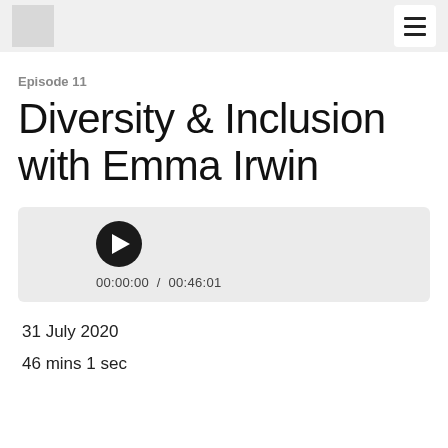Episode 11
Diversity & Inclusion with Emma Irwin
[Figure (other): Audio player bar with play button and time display showing 00:00:00 / 00:46:01]
31 July 2020
46 mins 1 sec